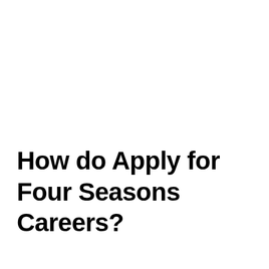How do Apply for Four Seasons Careers?